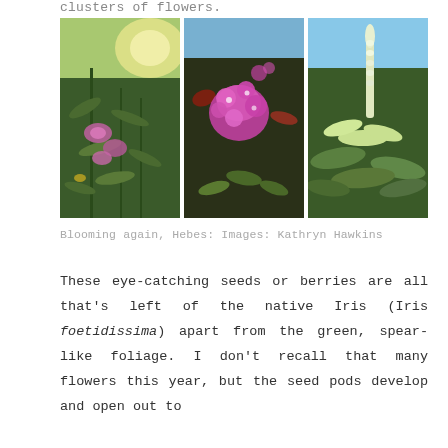clusters of flowers.
[Figure (photo): Three side-by-side photos of Hebe plants. Left: a green shrub with pink clustered flowers in sunlight. Middle: close-up of bright pink Hebe flowers. Right: a green leafy shrub with a white spike flower.]
Blooming again, Hebes: Images: Kathryn Hawkins
These eye-catching seeds or berries are all that's left of the native Iris (Iris foetidissima) apart from the green, spear-like foliage. I don't recall that many flowers this year, but the seed pods develop and open out to